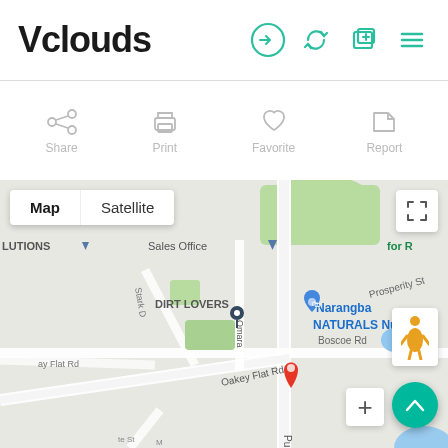Vclouds
[Figure (screenshot): Vclouds web app header with logo and navigation icons (login, refresh, add tab, hamburger menu) in teal/green color]
[Figure (screenshot): Toolbar strip showing Share, Print, Favorite, Report action icons in light gray]
[Figure (map): Google Maps view showing Narangba area with DIRT LOVERS marker, Narangba NATURALS Nursery marker, red location pin on Oakey Flat Rd / Purpengary Rd intersection, Boscoe Rd label, Sales Office marker, Prosperity St label, Stark D road label, ay Flat Rd road label. Map/Satellite toggle button top-left, fullscreen button top-right, street view pegman bottom-right, scroll-up FAB bottom-right, zoom plus bottom-right.]